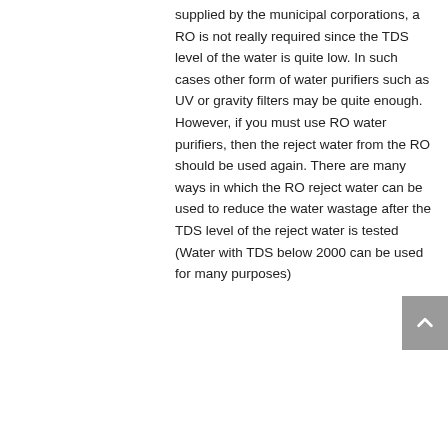supplied by the municipal corporations, a RO is not really required since the TDS level of the water is quite low. In such cases other form of water purifiers such as UV or gravity filters may be quite enough. However, if you must use RO water purifiers, then the reject water from the RO should be used again. There are many ways in which the RO reject water can be used to reduce the water wastage after the TDS level of the reject water is tested (Water with TDS below 2000 can be used for many purposes)